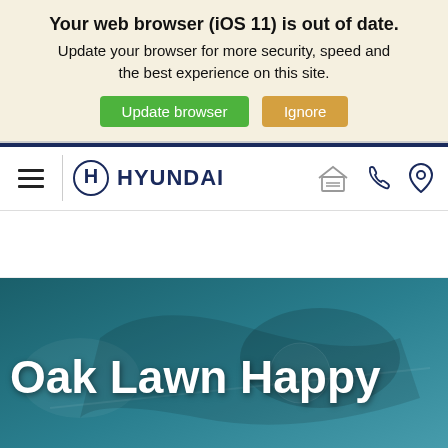Your web browser (iOS 11) is out of date. Update your browser for more security, speed and the best experience on this site. [Update browser] [Ignore]
[Figure (screenshot): Hyundai website navigation bar with hamburger menu, Hyundai logo, garage icon, phone icon, and location pin icon]
[Figure (photo): Hero image with teal-toned car interior/exterior photo with text 'Oak Lawn Happy Hyundai' overlaid in white]
Search   Share   Contact